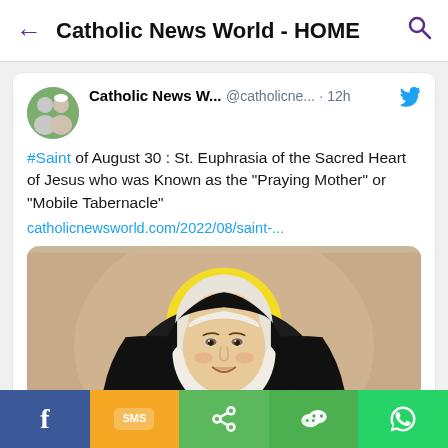Catholic News World - HOME
#Saint of August 30 : St. Euphrasia of the Sacred Heart of Jesus who was Known as the "Praying Mother" or "Mobile Tabernacle" catholicnewsworld.com/2022/08/saint-...
[Figure (illustration): Portrait painting of St. Euphrasia of the Sacred Heart of Jesus wearing a black nun's habit with white headpiece and golden halo, holding a wooden cross]